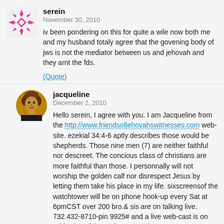[Figure (illustration): Pink geometric snowflake/mandala avatar icon]
serein
November 30, 2010
iv been pondering on this for quite a wile now both me and my husband totaly agree that the govening body of jws is not the mediator between us and jehovah and they arnt the fds.
(Quote)
[Figure (photo): Photo of Jacqueline, a woman with curly hair]
jacqueline
December 2, 2010
Hello serein, I agree with you. I am Jacqueline from the http://www.friendsofjehovahswitnesses.com web-site. ezekial 34:4-6 aptly describes those would be shepherds. Those nine men (7) are neither faithful nor descreet. The concious class of christians are more faithful than those. I personnally will not worship the golden calf nor disrespect Jesus by letting them take his place in my life. sixscreensof the watchtower will be on phone hook-up every Sat at 6pmCST over 200 bro.& sis are on talking live. 732.432-8710-pin 9925# and a live web-cast is on Friday by Bible Students. see the friendsofjehovahswitnesses site to get instructions.